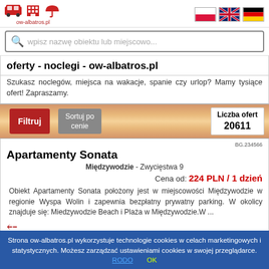ow-albatros.pl
wpisz nazwę obiektu lub miejscowo...
oferty - noclegi - ow-albatros.pl
Szukasz noclegów, miejsca na wakacje, spanie czy urlop? Mamy tysiące ofert! Zapraszamy.
Filtruj | Sortuj po cenie | Liczba ofert 20611
BG.234566
Apartamenty Sonata
Międzywodzie - Zwycięstwa 9
Cena od: 224 PLN / 1 dzień
Obiekt Apartamenty Sonata położony jest w miejscowości Międzywodzie w regionie Wyspa Wolin i zapewnia bezpłatny prywatny parking. W okolicy znajduje się: Miedzywodzie Beach i Plaża w Międzywodzie.W ...
Strona ow-albatros.pl wykorzystuje technologie cookies w celach marketingowych i statystycznych. Możesz zarządzać ustawieniami cookies w swojej przeglądarce. RODO OK